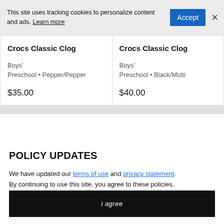This site uses tracking cookies to personalize content and ads. Learn more
[Figure (screenshot): Cookie consent banner with Accept button and close X]
Crocs Classic Clog
Boys' Preschool • Pepper/Pepper
$35.00
Crocs Classic Clog
Boys' Preschool • Black/Multi
$40.00
POLICY UPDATES
We have updated our terms of use and privacy statement. By continuing to use this site, you agree to these policies.
i agree